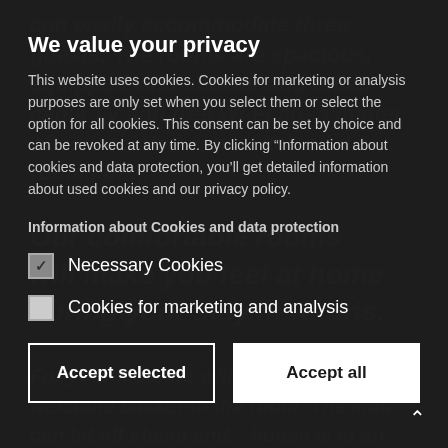[Figure (screenshot): Background webpage text partially visible behind cookie consent dialog, showing text about room accommodations and 'Our comfortable rooms will make you feel at home during your stay in Rauris.' in dark gray tones.]
We value your privacy
This website uses cookies. Cookies for marketing or analysis purposes are only set when you select them or select the option for all cookies. This consent can be set by choice and can be revoked at any time. By clicking “Information about cookies and data protection, you’ll get detailed information about used cookies and our privacy policy.
Information about Cookies and data protection
Necessary Cookies
Cookies for marketing and analysis
Accept selected
Accept all